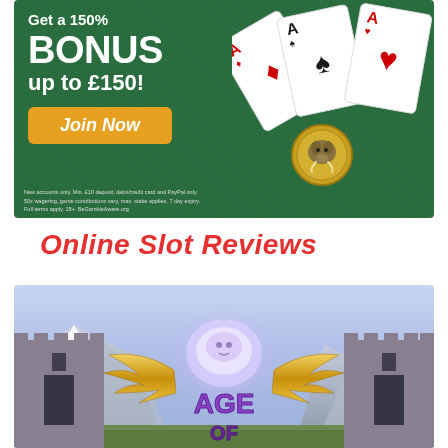[Figure (photo): Casino advertisement banner with dark green felt background. Text reads 'Get a 150% BONUS up to £150!' with a yellow/gold 'Join Now' button. Playing cards (Aces) fanned out on the right side with a decorative coin/medallion. Fine print text at bottom about terms and conditions.]
Online Slot Reviews
[Figure (photo): Age of [Gods/something] online slot game banner image. Shows a fantasy castle landscape with mountains and purple/blue sky. Large golden winged logo in the center with 'AGE OF' text in purple. Two stone castle towers on left and right sides.]